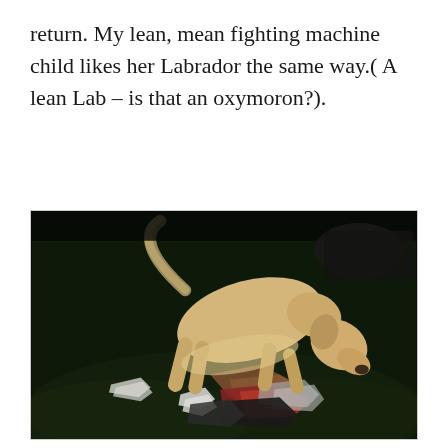return. My lean, mean fighting machine child likes her Labrador the same way.( A lean Lab – is that an oxymoron?).
[Figure (photo): A yellow Labrador dog bending down to rummage through a pile of trash/garbage (wrappers, packaging, paper scraps) scattered on dark green grass at night.]